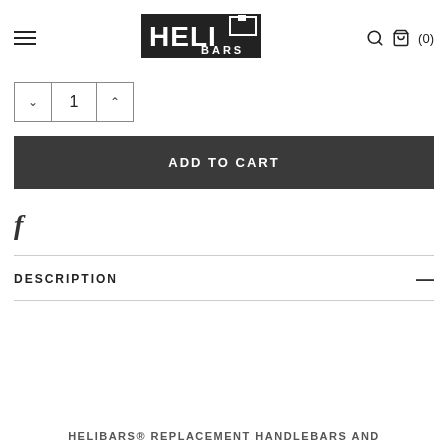Heli Bars logo, search icon, cart (0)
[Figure (logo): Heli Bars logo — black rectangular logo with stylized 'HELI BARS' text]
1 (quantity selector with up/down arrows)
ADD TO CART
[Figure (other): Facebook 'f' icon for social sharing]
DESCRIPTION
HELIBARS® REPLACEMENT HANDLEBARS AND